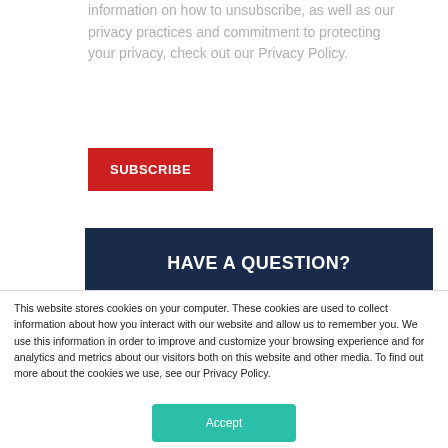information on how to unsubscribe, as well as our privacy practices and commitment to protecting your privacy, check out our Privacy Policy.
[Figure (other): Red SUBSCRIBE button]
[Figure (other): Dark navy banner with bold white text: HAVE A QUESTION?]
This website stores cookies on your computer. These cookies are used to collect information about how you interact with our website and allow us to remember you. We use this information in order to improve and customize your browsing experience and for analytics and metrics about our visitors both on this website and other media. To find out more about the cookies we use, see our Privacy Policy.
[Figure (other): Teal Accept button]